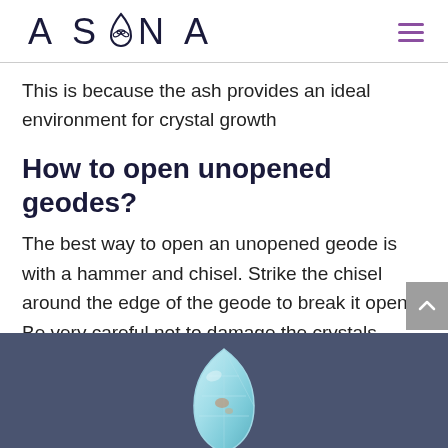ASANA
This is because the ash provides an ideal environment for crystal growth
How to open unopened geodes?
The best way to open an unopened geode is with a hammer and chisel. Strike the chisel around the edge of the geode to break it open. Be very careful not to damage the crystals inside.
[Figure (photo): Photograph of a pale blue crystal gemstone (teardrop/marquise shape) on a dark blue-grey background, partially visible at page bottom]